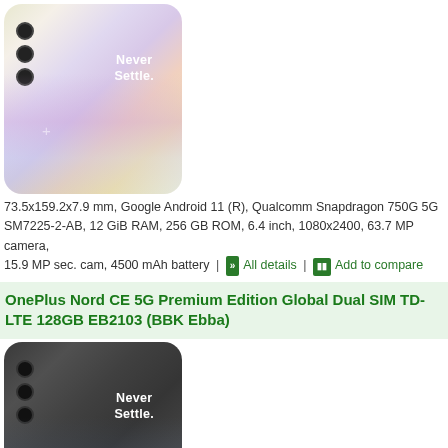[Figure (photo): OnePlus smartphone in white/pearl color with 'Never Settle' text on screen and triple camera on back]
73.5x159.2x7.9 mm, Google Android 11 (R), Qualcomm Snapdragon 750G 5G SM7225-2-AB, 12 GiB RAM, 256 GB ROM, 6.4 inch, 1080x2400, 63.7 MP camera, 15.9 MP sec. cam, 4500 mAh battery | All details | Add to compare
OnePlus Nord CE 5G Premium Edition Global Dual SIM TD-LTE 128GB EB2103 (BBK Ebba)
[Figure (photo): OnePlus smartphone in dark gray/slate color with 'Never Settle' text on screen and triple camera on back]